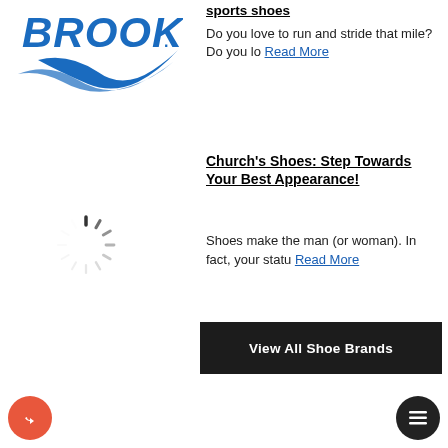[Figure (logo): Brooks running brand logo in blue]
sports shoes
Do you love to run and stride that mile? Do you lo Read More
[Figure (other): Loading spinner / circular progress indicator]
Church’s Shoes: Step Towards Your Best Appearance!
Shoes make the man (or woman). In fact, your statu Read More
View All Shoe Brands